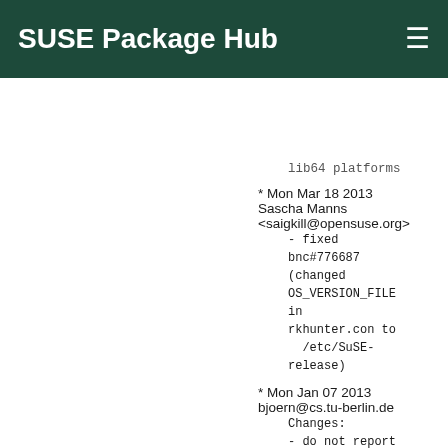SUSE Package Hub
lib64 platforms
* Mon Mar 18 2013 Sascha Manns <saigkill@opensuse.org>
    - fixed bnc#776687 (changed OS_VERSION_FILE in rkhunter.con to /etc/SuSE-release)
* Mon Jan 07 2013 bjoern@cs.tu-berlin.de
    Changes:
    - do not report a false positive on /etc/crontab
    - see http://sourceforge.net/tracker/?func=detail&atid=794187&aid=3591302&group_id=155034
* Sun May 13 2012 Sascha.Manns@open-slx.de
    - updated to 1.4.0
    * 1.4.0 (01/05/2012)
    New:
    - Added the '--list propfiles' command-line option. This will dump out the list of filenames that will be searched for when building the